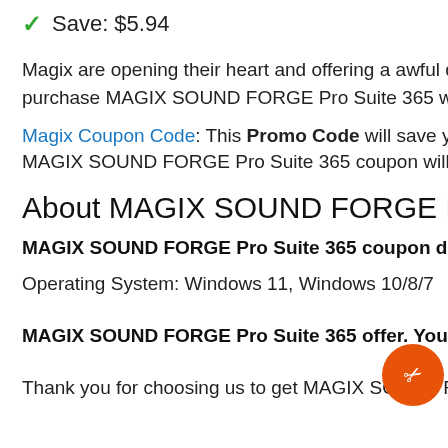✓ Save: $5.94
Magix are opening their heart and offering a awful discount on purchase MAGIX SOUND FORGE Pro Suite 365 with the awf
Magix Coupon Code: This Promo Code will save you 22% off MAGIX SOUND FORGE Pro Suite 365 coupon will expire on A
About MAGIX SOUND FORGE Pro Suite
MAGIX SOUND FORGE Pro Suite 365 coupon discount pr
Operating System: Windows 11, Windows 10/8/7
MAGIX SOUND FORGE Pro Suite 365 offer. You are claimi
Thank you for choosing us to get MAGIX SOUND FORGE Pr